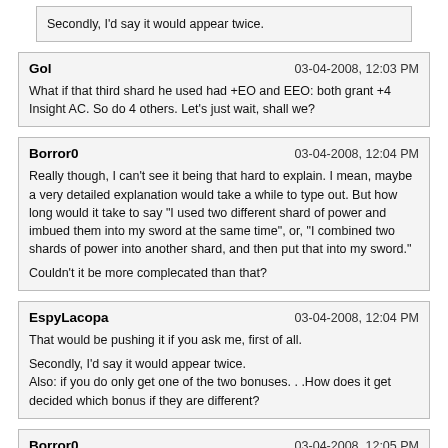Secondly, I'd say it would appear twice.
Gol
03-04-2008, 12:03 PM
What if that third shard he used had +EO and EEO: both grant +4 Insight AC. So do 4 others. Let's just wait, shall we?
Borror0
03-04-2008, 12:04 PM
Really though, I can't see it being that hard to explain. I mean, maybe a very detailed explanation would take a while to type out. But how long would it take to say "I used two different shard of power and imbued them into my sword at the same time", or, "I combined two shards of power into another shard, and then put that into my sword."

Couldn't it be more complecated than that?
EspyLacopa
03-04-2008, 12:04 PM
That would be pushing it if you ask me, first of all.

Secondly, I'd say it would appear twice.
Also: if you do only get one of the two bonuses. . .How does it get decided which bonus if they are different?
Borror0
03-04-2008, 12:05 PM
Also: if you do only get one of the two bonuses. . .How does it get decided which bonus if they are different?

I guess they'd have to be same Essence and Gem type. Or it could prioritise the first focus you added on the item.